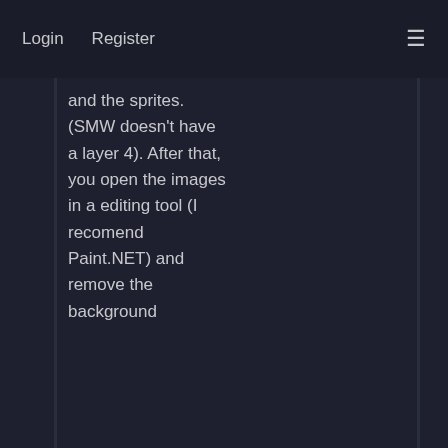Login   Register
and the sprites. (SMW doesn't have a layer 4). After that, you open the images in a editing tool (I recomend Paint.NET) and remove the background